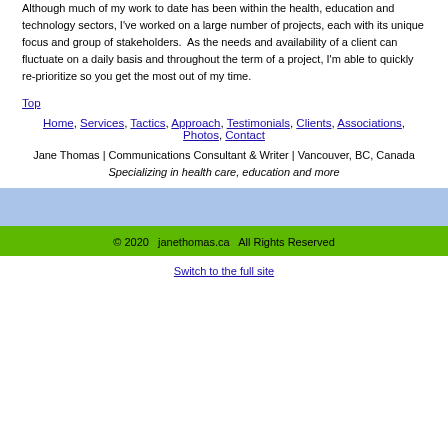Although much of my work to date has been within the health, education and technology sectors, I've worked on a large number of projects, each with its unique focus and group of stakeholders.  As the needs and availability of a client can fluctuate on a daily basis and throughout the term of a project, I'm able to quickly re-prioritize so you get the most out of my time.
Top
Home, Services, Tactics, Approach, Testimonials, Clients, Associations, Photos, Contact
Jane Thomas | Communications Consultant & Writer | Vancouver, BC, Canada
Specializing in health care, education and more
© 2020   janethomas.ca   All Rights Reserved
Switch to the full site